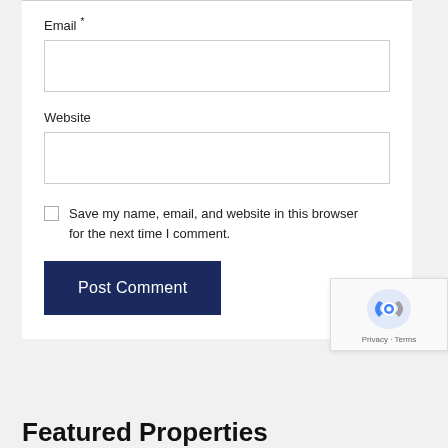Email *
Website
Save my name, email, and website in this browser for the next time I comment.
Post Comment
Featured Properties